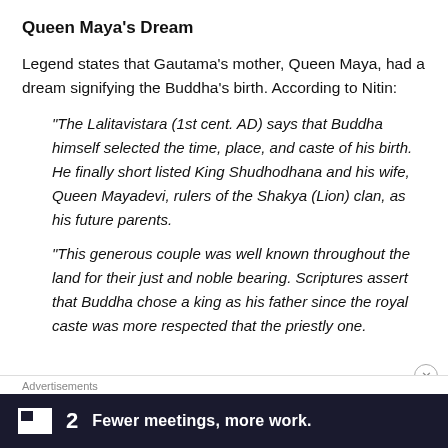Queen Maya's Dream
Legend states that Gautama’s mother, Queen Maya, had a dream signifying the Buddha’s birth. According to Nitin:
“The Lalitavistara (1st cent. AD) says that Buddha himself selected the time, place, and caste of his birth. He finally short listed King Shudhodhana and his wife, Queen Mayadevi, rulers of the Shakya (Lion) clan, as his future parents.
“This generous couple was well known throughout the land for their just and noble bearing. Scriptures assert that Buddha chose a king as his father since the royal caste was more respected that the priestly one.
Advertisements
[Figure (screenshot): Advertisement banner: dark navy background with white logo showing a small square icon, bold '2' numeral, and text 'Fewer meetings, more work.']